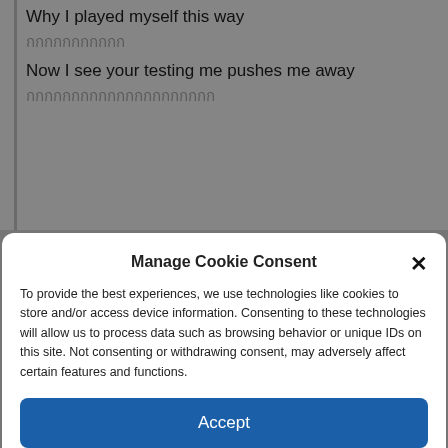Why I played myself this way
กกกกกกกกกกก
Now I see your testing me pushes me away
กกกกกกกกกกกกกกกกกกกกก
Manage Cookie Consent
To provide the best experiences, we use technologies like cookies to store and/or access device information. Consenting to these technologies will allow us to process data such as browsing behavior or unique IDs on this site. Not consenting or withdrawing consent, may adversely affect certain features and functions.
Accept
Deny
View preferences
Cookie Policy  กกกกก